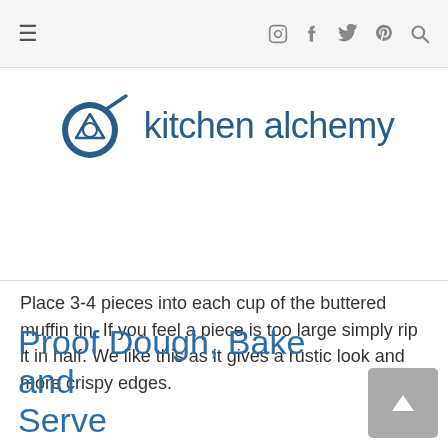kitchen alchemy — navigation bar with hamburger menu and social icons
[Figure (logo): Kitchen Alchemy logo: dark blue frying pan icon with eye/triangle emblem and text 'kitchen alchemy']
Place 3-4 pieces into each cup of the buttered muffin tin. If you feel a piece is too large simply rip it in half. We like this as it gives a rustic look and more crispy edges.
[Figure (other): Step number 6 inside a circle outline]
Proof Dough, Bake and Serve